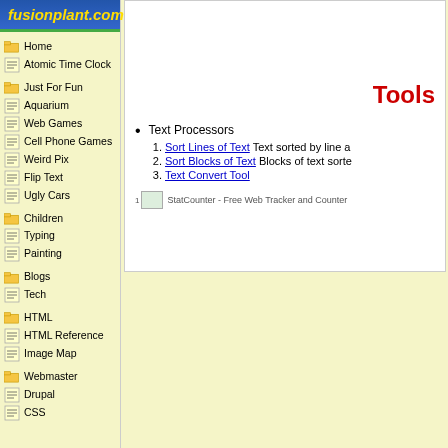[Figure (logo): fusionplant.com logo in italic yellow text on blue background with green bottom border]
Home
Atomic Time Clock
Just For Fun
Aquarium
Web Games
Cell Phone Games
Weird Pix
Flip Text
Ugly Cars
Children
Typing
Painting
Blogs
Tech
HTML
HTML Reference
Image Map
Webmaster
Drupal
CSS
Tools
Text Processors
Sort Lines of Text Text sorted by line a
Sort Blocks of Text Blocks of text sorte
Text Convert Tool
StatCounter - Free Web Tracker and Counter